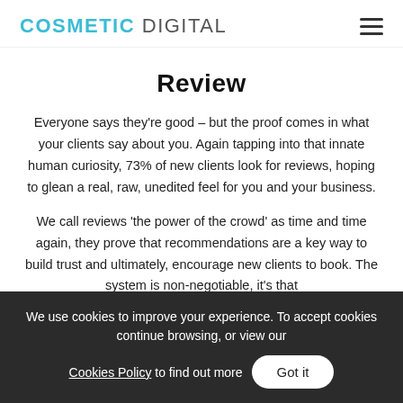COSMETIC DIGITAL
Review
Everyone says they're good – but the proof comes in what your clients say about you. Again tapping into that innate human curiosity, 73% of new clients look for reviews, hoping to glean a real, raw, unedited feel for you and your business.
We call reviews 'the power of the crowd' as time and time again, they prove that recommendations are a key way to build trust and ultimately, encourage new clients to book. The system is non-negotiable, it's that...
We use cookies to improve your experience. To accept cookies continue browsing, or view our Cookies Policy to find out more